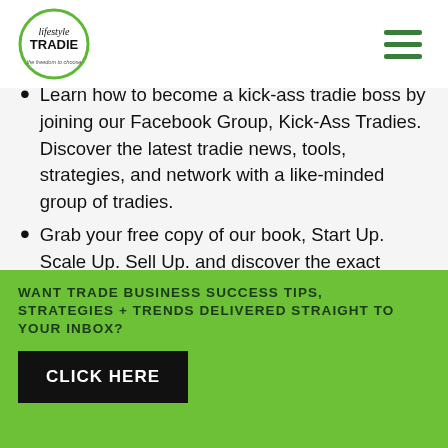lifestyle TRADIE — the freedom to choose [logo] [hamburger menu]
Learn how to become a kick-ass tradie boss by joining our Facebook Group, Kick-Ass Tradies. Discover the latest tradie news, tools, strategies, and network with a like-minded group of tradies.
Grab your free copy of our book, Start Up. Scale Up. Sell Up. and discover the exact steps to
WANT TRADE BUSINESS SUCCESS TIPS, STRATEGIES + TRENDS DELIVERED STRAIGHT TO YOUR INBOX?
CLICK HERE